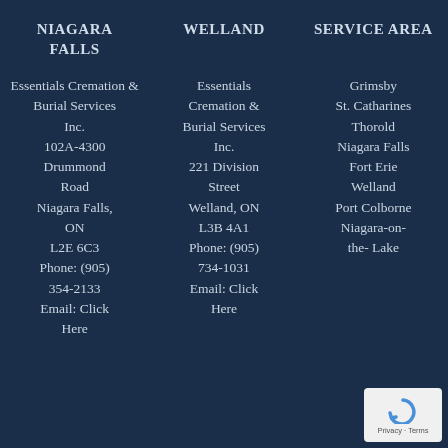NIAGARA FALLS
WELLAND
SERVICE AREA
Essentials Cremation & Burial Services Inc. 102A-4300 Drummond Road Niagara Falls, ON L2E 6C3 Phone: (905) 354-2133 Email: Click Here
Essentials Cremation & Burial Services Inc. 221 Division Street Welland, ON L3B 4A1 Phone: (905) 734-1031 Email: Click Here
Grimsby St. Catharines Thorold Niagara Falls Fort Erie Welland Port Colborne Niagara-on-the- Lake
[Figure (other): reCAPTCHA badge with Privacy and Terms links]